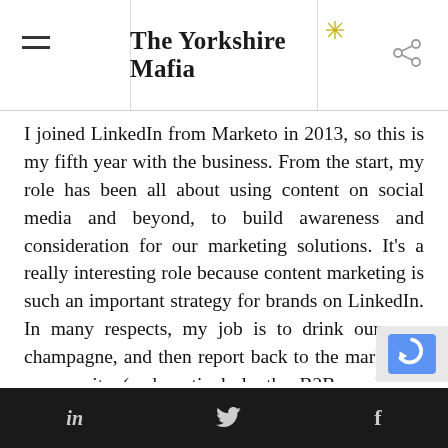The Yorkshire Mafia
I joined LinkedIn from Marketo in 2013, so this is my fifth year with the business. From the start, my role has been all about using content on social media and beyond, to build awareness and consideration for our marketing solutions. It’s a really interesting role because content marketing is such an important strategy for brands on LinkedIn. In many respects, my job is to drink our own champagne, and then report back to the marketing community (and particularly the B2B marketing community) about how it tastes – and how they should serve it. My team and I create blog posts, infographics, Big Rock eBooks, white papers and research reports – and at the same time, we’re tal
in  •  𝒟  •  f